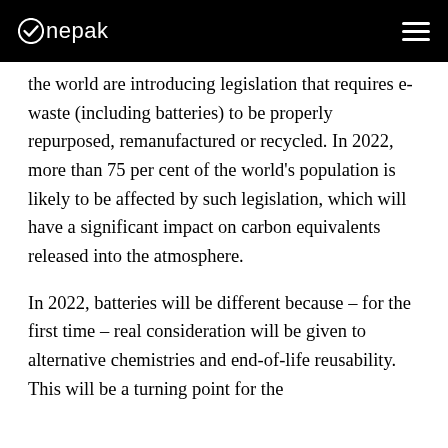Onepak
the world are introducing legislation that requires e-waste (including batteries) to be properly repurposed, remanufactured or recycled. In 2022, more than 75 per cent of the world's population is likely to be affected by such legislation, which will have a significant impact on carbon equivalents released into the atmosphere.
In 2022, batteries will be different because – for the first time – real consideration will be given to alternative chemistries and end-of-life reusability. This will be a turning point for the